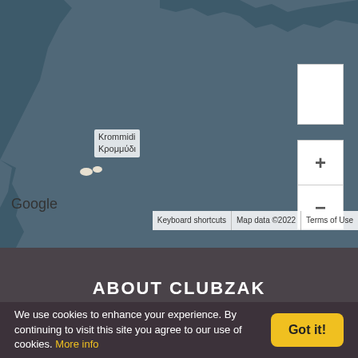[Figure (map): Google Maps showing a sea area with land masses in dark teal/slate color. A label reads 'Krommidi / Κρομμύδι' for a small island. Zoom controls (plus/minus buttons) and a satellite view box are visible on the right side. Google branding appears bottom-left, with 'Keyboard shortcuts', 'Map data ©2022', 'Terms of Use' links at the bottom.]
ABOUT CLUBZAK
We use cookies to enhance your experience. By continuing to visit this site you agree to our use of cookies. More info